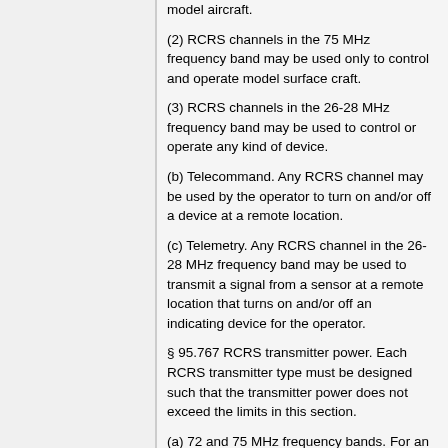model aircraft.
(2) RCRS channels in the 75 MHz frequency band may be used only to control and operate model surface craft.
(3) RCRS channels in the 26-28 MHz frequency band may be used to control or operate any kind of device.
(b) Telecommand. Any RCRS channel may be used by the operator to turn on and/or off a device at a remote location.
(c) Telemetry. Any RCRS channel in the 26-28 MHz frequency band may be used to transmit a signal from a sensor at a remote location that turns on and/or off an indicating device for the operator.
§ 95.767 RCRS transmitter power. Each RCRS transmitter type must be designed such that the transmitter power does not exceed the limits in this section.
(a) 72 and 75 MHz frequency bands. For an RCRS transmitter operating in the 72 and/or 75 MHz frequency bands, the mean transmitter